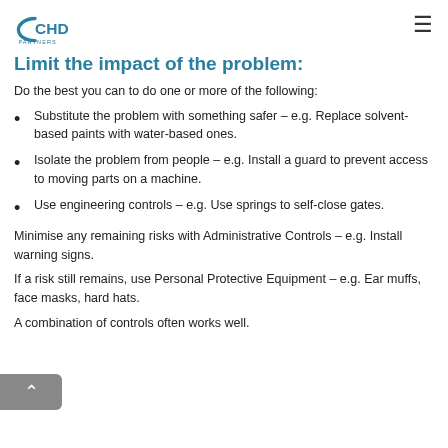CHD PARTNERS
Limit the impact of the problem:
Do the best you can to do one or more of the following:
Substitute the problem with something safer – e.g. Replace solvent-based paints with water-based ones.
Isolate the problem from people – e.g. Install a guard to prevent access to moving parts on a machine.
Use engineering controls – e.g. Use springs to self-close gates.
Minimise any remaining risks with Administrative Controls – e.g. Install warning signs.
If a risk still remains, use Personal Protective Equipment – e.g. Ear muffs, face masks, hard hats.
A combination of controls often works well.